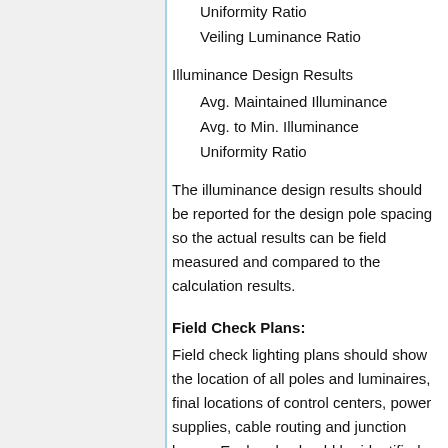Uniformity Ratio
Veiling Luminance Ratio
Illuminance Design Results
Avg. Maintained Illuminance
Avg. to Min. Illuminance
Uniformity Ratio
The illuminance design results should be reported for the design pole spacing so the actual results can be field measured and compared to the calculation results.
Field Check Plans:
Field check lighting plans should show the location of all poles and luminaires, final locations of control centers, power supplies, cable routing and junction boxes. Each pole should be identified according to the “Streetlight Designation” in the